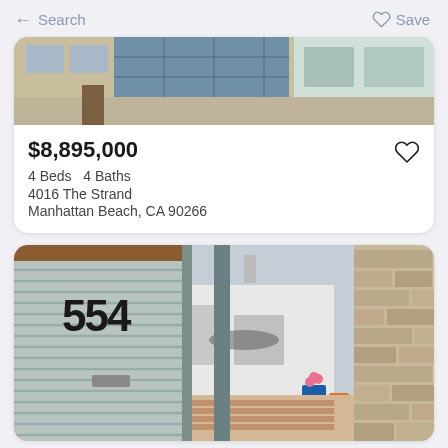← Search    ♡ Save
[Figure (photo): Exterior photo of a beachfront multi-story home with balcony and large windows]
$8,895,000
4 Beds  4 Baths
4016 The Strand
Manhattan Beach, CA 90266
[Figure (photo): Exterior photo showing a corrugated metal gate with house number 554, with a white modern home and stone wall visible in background]